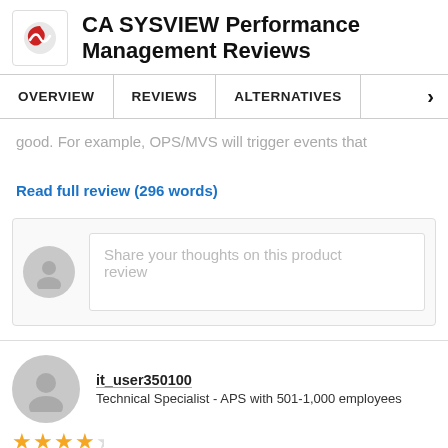CA SYSVIEW Performance Management Reviews
OVERVIEW | REVIEWS | ALTERNATIVES
good. For example, OPS/MVS will trigger events that [blurred text]
Read full review (296 words)
Share your thoughts on this product review
it_user350100
Technical Specialist - APS with 501-1,000 employees